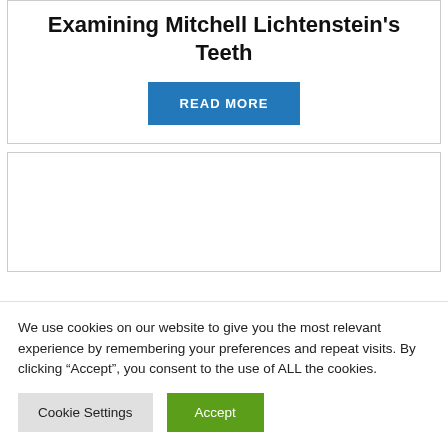Examining Mitchell Lichtenstein's Teeth
READ MORE
[Figure (other): Empty white card/content placeholder box]
We use cookies on our website to give you the most relevant experience by remembering your preferences and repeat visits. By clicking “Accept”, you consent to the use of ALL the cookies.
Cookie Settings
Accept